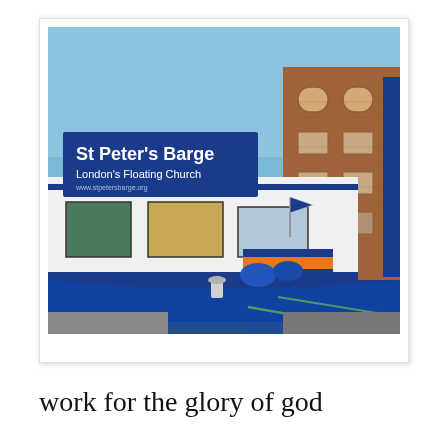[Figure (photo): A photograph of St Peter's Barge, London's Floating Church. A white barge with blue trim is moored at a dock next to a brick warehouse building. A large blue sign on the barge reads 'St Peter's Barge London's Floating Church'. The barge hull is bright blue. Ropes and fenders are visible. Blue sky overhead.]
work for the glory of god